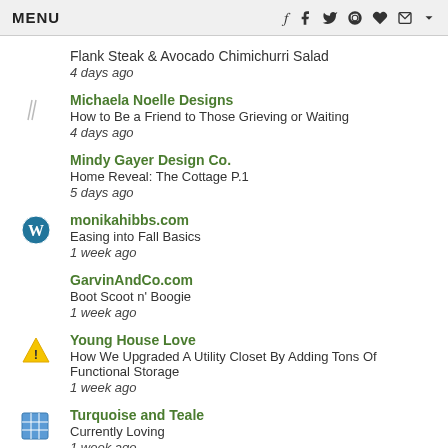MENU
Flank Steak & Avocado Chimichurri Salad
4 days ago
Michaela Noelle Designs
How to Be a Friend to Those Grieving or Waiting
4 days ago
Mindy Gayer Design Co.
Home Reveal: The Cottage P.1
5 days ago
monikahibbs.com
Easing into Fall Basics
1 week ago
GarvinAndCo.com
Boot Scoot n' Boogie
1 week ago
Young House Love
How We Upgraded A Utility Closet By Adding Tons Of Functional Storage
1 week ago
Turquoise and Teale
Currently Loving
1 week ago